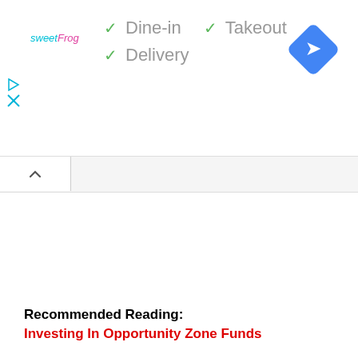[Figure (screenshot): sweetFrog logo in cyan and pink text]
✓ Dine-in
✓ Takeout
✓ Delivery
[Figure (logo): Blue diamond navigation/directions icon with white right-turn arrow]
Recommended Reading:
Investing In Opportunity Zone Funds